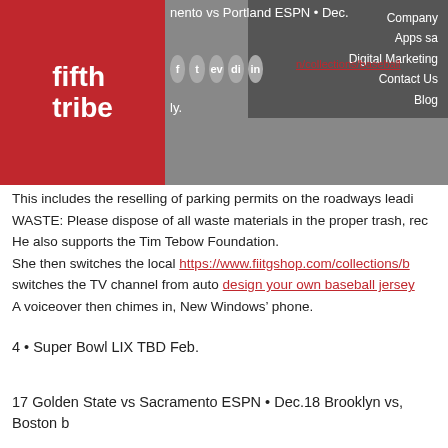nento vs Portland ESPN • Dec.
Company Apps sa Digital Marketing Contact Us Blog
This includes the reselling of parking permits on the roadways leadi
WASTE: Please dispose of all waste materials in the proper trash, rec
He also supports the Tim Tebow Foundation.
She then switches the local https://www.fiitgshop.com/collections/b switches the TV channel from auto design your own baseball jersey
A voiceover then chimes in, New Windows' phone.
4 • Super Bowl LIX TBD Feb.
17 Golden State vs Sacramento ESPN • Dec.18 Brooklyn vs, Boston b
This entry was written by , posted on January 26, 2021 at 10:55 am, filed under Uncategorized. Bookmark the permalink. Follow any comments here with the RSS feed for this post. Post a comment or leave a trackback: Trackback URL.
About The Author
Leave a Reply
Your email address will not be published.
Required fields are marked *